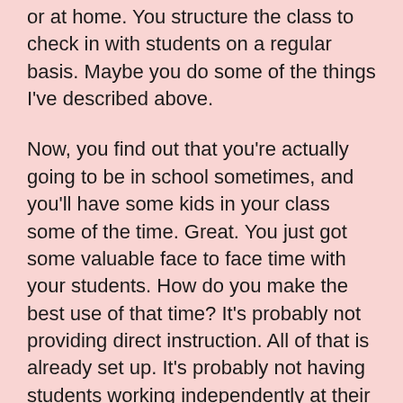or at home. You structure the class to check in with students on a regular basis. Maybe you do some of the things I've described above.
Now, you find out that you're actually going to be in school sometimes, and you'll have some kids in your class some of the time. Great. You just got some valuable face to face time with your students. How do you make the best use of that time? It's probably not providing direct instruction. All of that is already set up. It's probably not having students working independently at their desks. They can do that when they're not in your room. It might be differentiating, meeting with small groups or individual students. It might be facilitating a class discussion instead of an online forum. Maybe you're asking students to do presentations to demonstrate what they've been working on. Maybe they're working collaboratively with a rare opportunity to interact in a face to face environment. Class time is different when it's rare. You're going to focus on doing the things in class